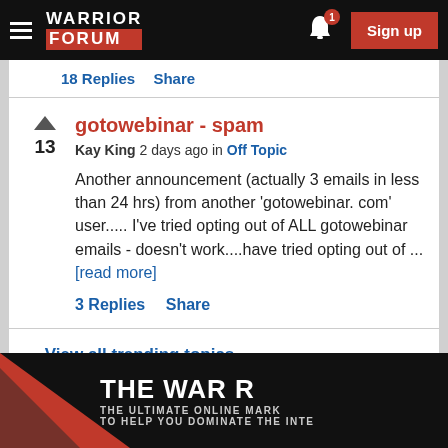Warrior Forum — Sign up
18 Replies   Share
gotowebinar - spam
Kay King 2 days ago in Off Topic
Another announcement (actually 3 emails in less than 24 hrs) from another 'gotowebinar. com' user..... I've tried opting out of ALL gotowebinar emails - doesn't work....have tried opting out of ... [read more]
3 Replies   Share
← View all trending topics
[Figure (screenshot): Bottom banner for Warrior Forum with text 'THE WAR R' and 'THE ULTIMATE ONLINE MARK TO HELP YOU DOMINATE THE INTE' on a dark background with red triangle graphic]